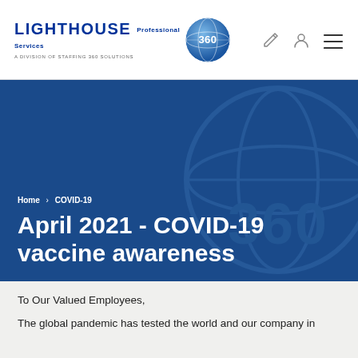LIGHTHOUSE Professional Services — A DIVISION OF STAFFING 360 SOLUTIONS
[Figure (logo): Lighthouse Professional Services logo with 360 globe icon]
Home › COVID-19
April 2021 - COVID-19 vaccine awareness
To Our Valued Employees,
The global pandemic has tested the world and our company in